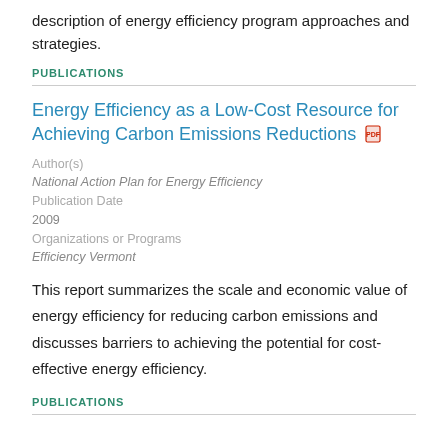description of energy efficiency program approaches and strategies.
PUBLICATIONS
Energy Efficiency as a Low-Cost Resource for Achieving Carbon Emissions Reductions
Author(s)
National Action Plan for Energy Efficiency
Publication Date
2009
Organizations or Programs
Efficiency Vermont
This report summarizes the scale and economic value of energy efficiency for reducing carbon emissions and discusses barriers to achieving the potential for cost-effective energy efficiency.
PUBLICATIONS